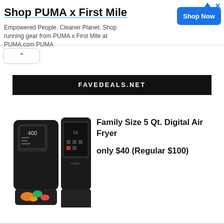[Figure (screenshot): Advertisement banner for PUMA x First Mile with title, description, and Shop Now button]
Shop PUMA x First Mile
Empowered People. Cleaner Planet. Shop running gear from PUMA x First Mile at PUMA.com PUMA
FAVEDEALS.NET
[Figure (photo): Two black Thermo digital air fryers shown side by side, one with open basket containing colorful vegetables]
Family Size 5 Qt. Digital Air Fryer only $40 (Regular $100)